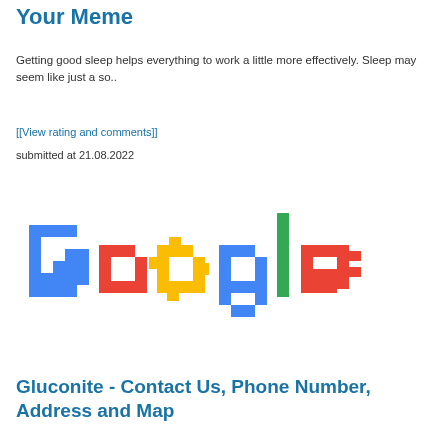Your Meme
Getting good sleep helps everything to work a little more effectively. Sleep may seem like just a so..
[[View rating and comments]]
submitted at 21.08.2022
[Figure (illustration): Pixelated/8-bit style Google logo with colorful block letters: G (blue), o (red), o (yellow), g (blue), l (green), e (red)]
Gluconite - Contact Us, Phone Number, Address and Map